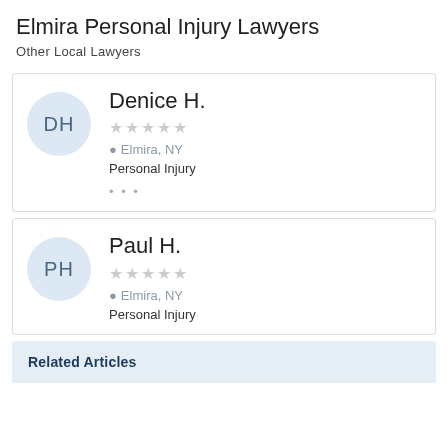Elmira Personal Injury Lawyers
Other Local Lawyers
DH
Denice H.
★★★★★
Elmira, NY
Personal Injury
...
PH
Paul H.
★★★★★
Elmira, NY
Personal Injury
Related Articles